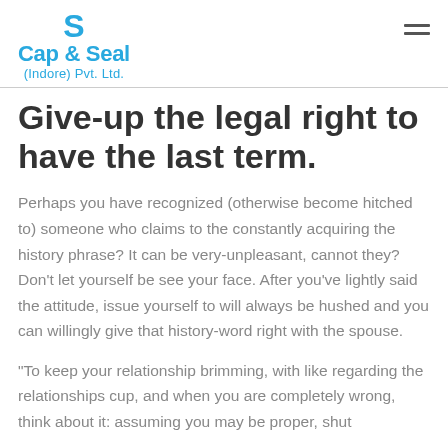Cap & Seal (Indore) Pvt. Ltd.
Give-up the legal right to have the last term.
Perhaps you have recognized (otherwise become hitched to) someone who claims to the constantly acquiring the history phrase? It can be very-unpleasant, cannot they? Don't let yourself be see your face. After you've lightly said the attitude, issue yourself to will always be hushed and you can willingly give that history-word right with the spouse.
“To keep your relationship brimming, with like regarding the relationships cup, and when you are completely wrong, think about it: assuming you may be proper, shut